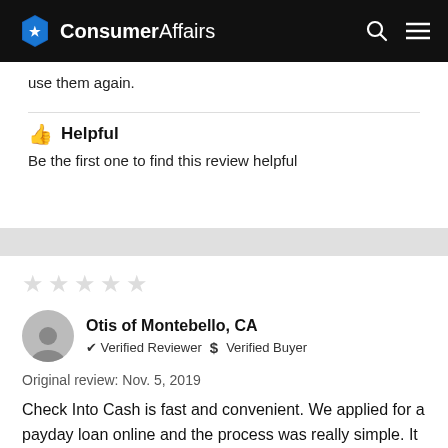ConsumerAffairs
use them again.
👍 Helpful
Be the first one to find this review helpful
[Figure (other): Star rating showing 2 out of 5 stars (light gray stars)]
Otis of Montebello, CA
✔ Verified Reviewer  $  Verified Buyer
Original review: Nov. 5, 2019
Check Into Cash is fast and convenient. We applied for a payday loan online and the process was really simple. It took five minutes and it has been a good